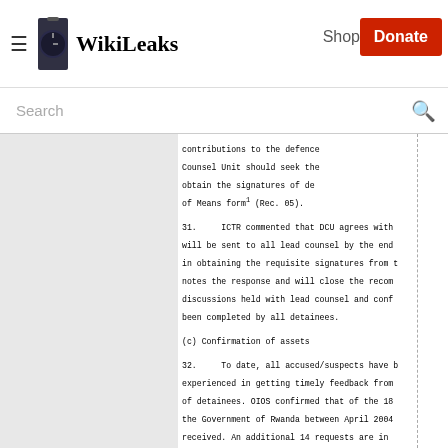WikiLeaks
contributions to the defence
Counsel Unit should seek the
obtain the signatures of de
of Means form¹ (Rec. 05).
31.     ICTR commented that DCU agrees with
will be sent to all lead counsel by the end
in obtaining the requisite signatures from t
notes the response and will close the recom
discussions held with lead counsel and conf
been completed by all detainees.
(c) Confirmation of assets
32.     To date, all accused/suspects have b
experienced in getting timely feedback from
of detainees. OIOS confirmed that of the 18
the Government of Rwanda between April 2004
received. An additional 14 requests are in 
to make enquiries about the means of the ac
arrested, have not been satisfactory. The i
management with the Special Representative 
was no indication of any follow-up action o
opinion that ICTR should be more proactive 
with the Government of Rwanda and deadlines
of decisions.
Recommendation:
To ensure that decisions ta
             Government of Rwanda are im